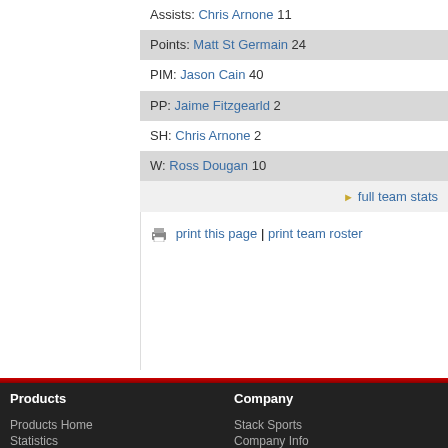Assists: Chris Arnone 11
Points: Matt St Germain 24
PIM: Jason Cain 40
PP: Jaime Fitzgearld 2
SH: Chris Arnone 2
W: Ross Dougan 10
▶ full team stats
print this page | print team roster
Products
Company
Products Home
Statistics
Stack Sports
Company Info